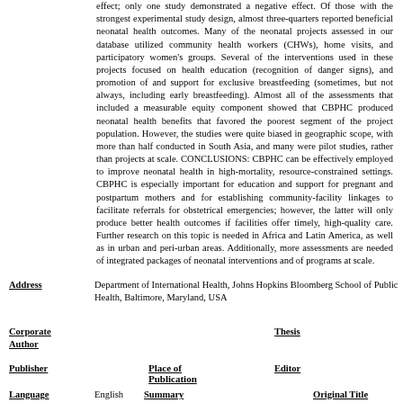effect; only one study demonstrated a negative effect. Of those with the strongest experimental study design, almost three-quarters reported beneficial neonatal health outcomes. Many of the neonatal projects assessed in our database utilized community health workers (CHWs), home visits, and participatory women's groups. Several of the interventions used in these projects focused on health education (recognition of danger signs), and promotion of and support for exclusive breastfeeding (sometimes, but not always, including early breastfeeding). Almost all of the assessments that included a measurable equity component showed that CBPHC produced neonatal health benefits that favored the poorest segment of the project population. However, the studies were quite biased in geographic scope, with more than half conducted in South Asia, and many were pilot studies, rather than projects at scale. CONCLUSIONS: CBPHC can be effectively employed to improve neonatal health in high-mortality, resource-constrained settings. CBPHC is especially important for education and support for pregnant and postpartum mothers and for establishing community-facility linkages to facilitate referrals for obstetrical emergencies; however, the latter will only produce better health outcomes if facilities offer timely, high-quality care. Further research on this topic is needed in Africa and Latin America, as well as in urban and peri-urban areas. Additionally, more assessments are needed of integrated packages of neonatal interventions and of programs at scale.
Address
Department of International Health, Johns Hopkins Bloomberg School of Public Health, Baltimore, Maryland, USA
Corporate Author
Thesis
Publisher
Place of Publication
Editor
Language
English
Summary Language
Original Title